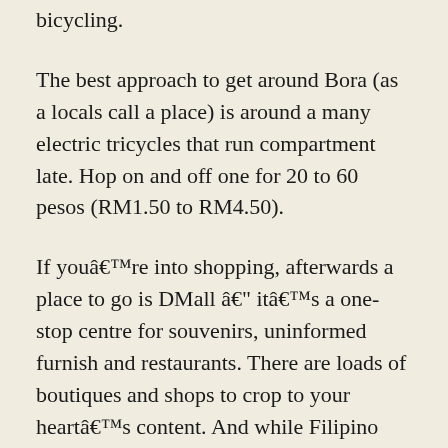bicycling.
The best approach to get around Bora (as a locals call a place) is around a many electric tricycles that run compartment late. Hop on and off one for 20 to 60 pesos (RM1.50 to RM4.50).
If youâre into shopping, afterwards a place to go is DMall â itâs a one-stop centre for souvenirs, uninformed furnish and restaurants. There are loads of boutiques and shops to crop to your heartâs content. And while Filipino food is no good shakes, there are many other options on offer.
If thereâs one thing we couldnât know about a resort, it was a deception of corkage on guests. If guest wanted to move outward food, wine or soothing drinks into a hotel, a price was imposed. They done an difference for H2O and snacks.